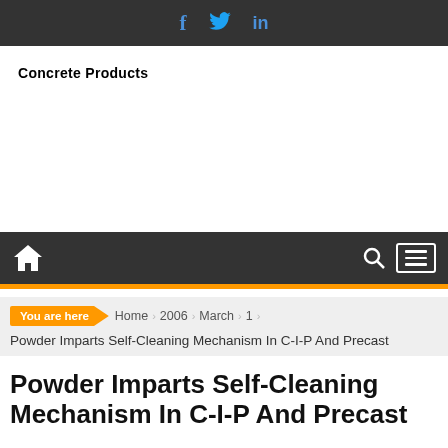Social icons: Facebook, Twitter, LinkedIn
Concrete Products
[Figure (other): Navigation bar with home icon, search icon, and hamburger menu icon on dark background]
You are here › Home › 2006 › March › 1 › Powder Imparts Self-Cleaning Mechanism In C-I-P And Precast
Powder Imparts Self-Cleaning Mechanism In C-I-P And Precast